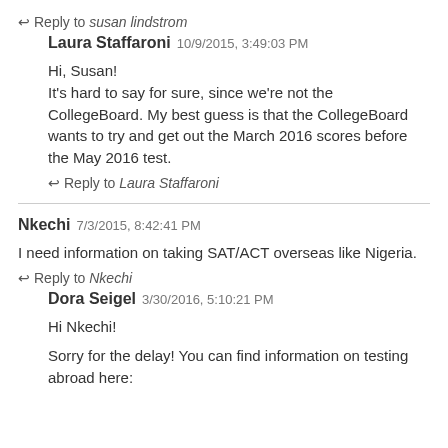↩ Reply to susan lindstrom
Laura Staffaroni 10/9/2015, 3:49:03 PM
Hi, Susan!
It's hard to say for sure, since we're not the CollegeBoard. My best guess is that the CollegeBoard wants to try and get out the March 2016 scores before the May 2016 test.
↩ Reply to Laura Staffaroni
Nkechi 7/3/2015, 8:42:41 PM
I need information on taking SAT/ACT overseas like Nigeria.
↩ Reply to Nkechi
Dora Seigel 3/30/2016, 5:10:21 PM
Hi Nkechi!
Sorry for the delay! You can find information on testing abroad here: